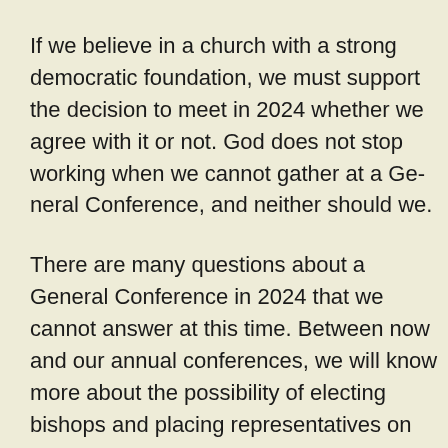If we believe in a church with a strong democratic foundation, we must support the decision to meet in 2024 whether we agree with it or not. God does not stop working when we cannot gather at a General Conference, and neither should we.
There are many questions about a General Conference in 2024 that we cannot answer at this time. Between now and our annual conferences, we will know more about the possibility of electing bishops and placing representatives on church agencies, resetting the general church budget, and how a postponed 2020 conference and a 2024 conference can meet at the same time.
Do not let the news of General Conference being postponed shift your attention away from the suffering of our United Methodist brothers and sisters in Ukraine. I have gathered, sung, and prayed with our United Methodist brothers and sisters in Kyiv and in Moscow who are b